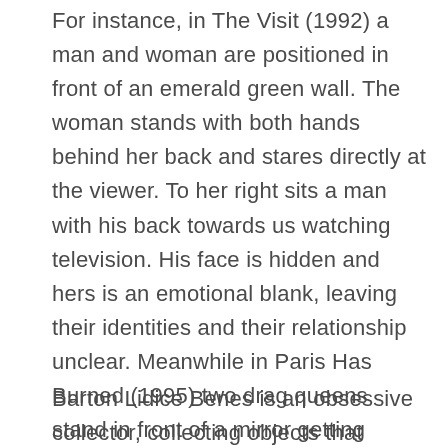For instance, in The Visit (1992) a man and woman are positioned in front of an emerald green wall. The woman stands with both hands behind her back and stares directly at the viewer. To her right sits a man with his back towards us watching television. His face is hidden and hers is an emotional blank, leaving their identities and their relationship unclear. Meanwhile in Paris Has Burned (1995) two drag queens stand in front of a mirror getting ready for a show. The face of the one closest to the viewer appears to be a mask with darkness around its edge and pitch black holes in place of the eyes.
Barton Lidice Benes is an obsessive collector, collecting objects that belonged to or are otherwise connected to someone famous. A